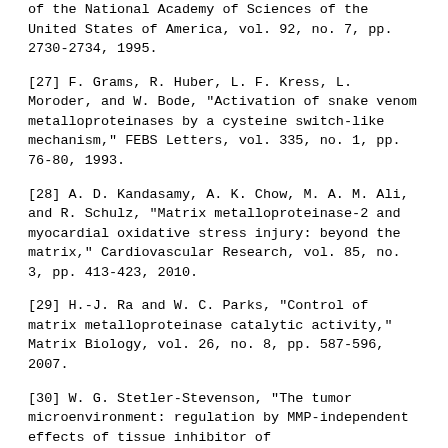of the National Academy of Sciences of the United States of America, vol. 92, no. 7, pp. 2730-2734, 1995.
[27] F. Grams, R. Huber, L. F. Kress, L. Moroder, and W. Bode, "Activation of snake venom metalloproteinases by a cysteine switch-like mechanism," FEBS Letters, vol. 335, no. 1, pp. 76-80, 1993.
[28] A. D. Kandasamy, A. K. Chow, M. A. M. Ali, and R. Schulz, "Matrix metalloproteinase-2 and myocardial oxidative stress injury: beyond the matrix," Cardiovascular Research, vol. 85, no. 3, pp. 413-423, 2010.
[29] H.-J. Ra and W. C. Parks, "Control of matrix metalloproteinase catalytic activity," Matrix Biology, vol. 26, no. 8, pp. 587-596, 2007.
[30] W. G. Stetler-Stevenson, "The tumor microenvironment: regulation by MMP-independent effects of tissue inhibitor of metalloproteinases-2," Cancer and Metastasis Reviews, vol. 27, no. 1, pp. 57-66, 2008.
[31] I. Tency, H. Verstraelen, I. Kroes et al., "Imbalances between matrix metalloproteinases (MMPs) and tissue